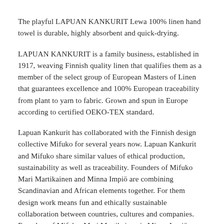The playful LAPUAN KANKURIT Lewa 100% linen hand towel is durable, highly absorbent and quick-drying.
LAPUAN KANKURIT is a family business, established in 1917, weaving Finnish quality linen that qualifies them as a member of the select group of European Masters of Linen that guarantees excellence and 100% European traceability from plant to yarn to fabric. Grown and spun in Europe according to certified OEKO-TEX standard.
Lapuan Kankurit has collaborated with the Finnish design collective Mifuko for several years now. Lapuan Kankurit and Mifuko share similar values of ethical production, sustainability as well as traceability. Founders of Mifuko Mari Martikainen and Minna Impiö are combining Scandinavian and African elements together. For them design work means fun and ethically sustainable collaboration between countries, cultures and companies. Founders of Mifuko, Mari Martikainen ja Minna Impiö are combining scandinavian and African elements. For them design work